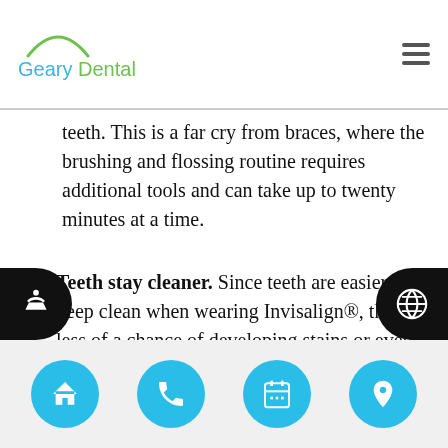Geary Dental
teeth. This is a far cry from braces, where the brushing and flossing routine requires additional tools and can take up to twenty minutes at a time.
3. Teeth stay cleaner. Since teeth are easier to keep clean when wearing Invisalign®, there is less of a chance of developing stains or even cavities. Consider this, when a person wears braces, food can become stuck all along the brackets and underneath the wires. These areas can be hotbeds for bacteria and plaque that can eat away at the teeth and lead to decay. In order to prevent this, special brushes need to be used on a daily basis
Home | Phone | Calendar | Location